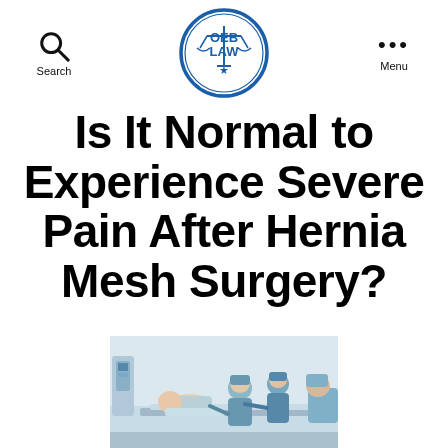Search  OEB LAW  Menu
Is It Normal to Experience Severe Pain After Hernia Mesh Surgery?
[Figure (photo): Medical photo showing surgeons in blue scrubs and caps attending to a patient lying on an operating table in a clinical setting.]